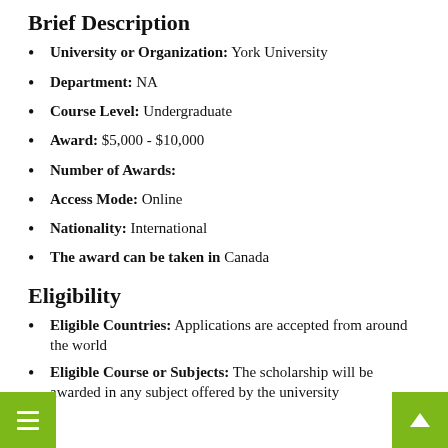Brief Description
University or Organization: York University
Department: NA
Course Level: Undergraduate
Award: $5,000 - $10,000
Number of Awards:
Access Mode: Online
Nationality: International
The award can be taken in Canada
Eligibility
Eligible Countries: Applications are accepted from around the world
Eligible Course or Subjects: The scholarship will be awarded in any subject offered by the university